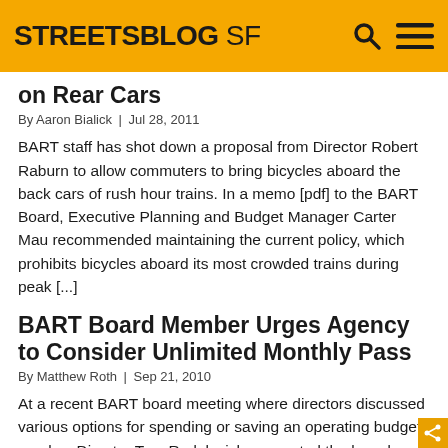STREETSBLOG SF
on Rear Cars
By Aaron Bialick | Jul 28, 2011
BART staff has shot down a proposal from Director Robert Raburn to allow commuters to bring bicycles aboard the back cars of rush hour trains. In a memo [pdf] to the BART Board, Executive Planning and Budget Manager Carter Mau recommended maintaining the current policy, which prohibits bicycles aboard its most crowded trains during peak [...]
BART Board Member Urges Agency to Consider Unlimited Monthly Pass
By Matthew Roth | Sep 21, 2010
At a recent BART board meeting where directors discussed various options for spending or saving an operating budget surplus, Director Tom Radulovich suggested the board